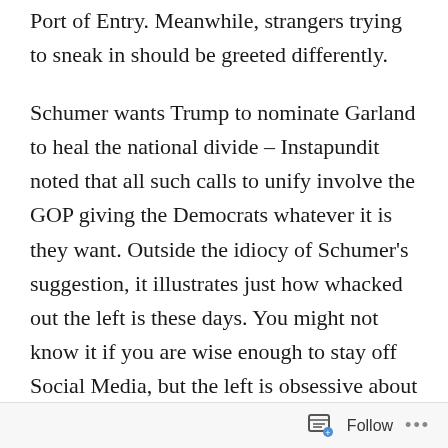Port of Entry. Meanwhile, strangers trying to sneak in should be greeted differently.
Schumer wants Trump to nominate Garland to heal the national divide – Instapundit noted that all such calls to unify involve the GOP giving the Democrats whatever it is they want. Outside the idiocy of Schumer's suggestion, it illustrates just how whacked out the left is these days. You might not know it if you are wise enough to stay off Social Media, but the left is obsessive about Garland. Of course, 99 out of 100 of them probably couldn't pick him out of a lineup – but that doesn't stop them from feeling psychic pain over the fact that they didn't get to replace Scalia with a liberal. They had been waiting for the happy situation to arise where one of the Court's real Conservatives retired or died while a Democrat was
Follow ···